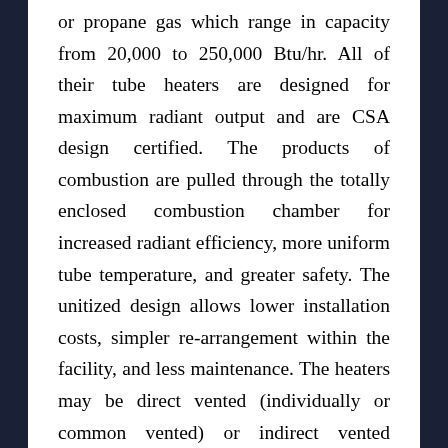or propane gas which range in capacity from 20,000 to 250,000 Btu/hr. All of their tube heaters are designed for maximum radiant output and are CSA design certified. The products of combustion are pulled through the totally enclosed combustion chamber for increased radiant efficiency, more uniform tube temperature, and greater safety. The unitized design allows lower installation costs, simpler re-arrangement within the facility, and less maintenance. The heaters may be direct vented (individually or common vented) or indirect vented (unvented).